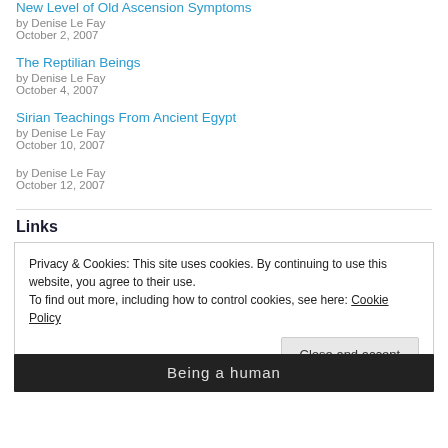New Level of Old Ascension Symptoms
by Denise Le Fay
October 2, 2007
The Reptilian Beings
by Denise Le Fay
October 4, 2007
Sirian Teachings From Ancient Egypt
by Denise Le Fay
October 10, 2007
by Denise Le Fay
October 12, 2007
Links
Privacy & Cookies: This site uses cookies. By continuing to use this website, you agree to their use.
To find out more, including how to control cookies, see here: Cookie Policy
[Figure (photo): Black and white image strip at the bottom showing handwritten text 'Being a human']